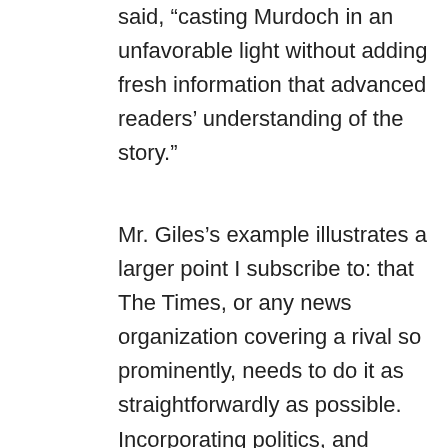said, “casting Murdoch in an unfavorable light without adding fresh information that advanced readers’ understanding of the story.”
Mr. Giles’s example illustrates a larger point I subscribe to: that The Times, or any news organization covering a rival so prominently, needs to do it as straightforwardly as possible. Incorporating politics, and dressing the piece in a mock tabloid art treatment, leave room for some to perceive a hidden agenda, and perhaps